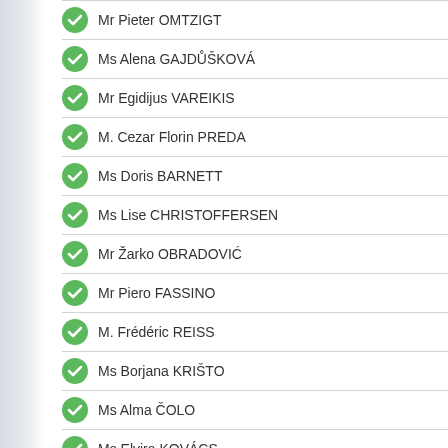Mr Pieter OMTZIGT
Ms Alena GAJDŮŠKOVÁ
Mr Egidijus VAREIKIS
M. Cezar Florin PREDA
Ms Doris BARNETT
Ms Lise CHRISTOFFERSEN
Mr Žarko OBRADOVIĆ
Mr Piero FASSINO
M. Frédéric REISS
Ms Borjana KRIŠTO
Ms Alma ČOLO
Ms Elvira KOVÁCS
M. Haluk KOÇ
Mr Serhii SOBOLIEV
M. Bernard FOURNIER
Mme Maryvonne BLONDIN
Mr Viorel-Riceard BADEA